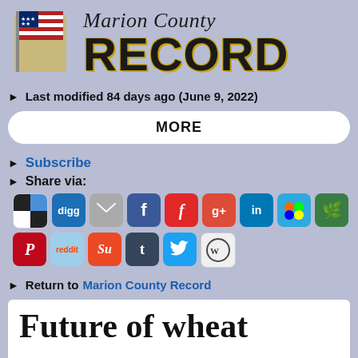[Figure (logo): Marion County Record newspaper logo with American flag graphic, italic serif 'Marion County' text above bold black 'RECORD' with gold shadow]
Last modified 84 days ago (June 9, 2022)
MORE
Subscribe
Share via:
[Figure (infographic): Row of social media sharing icon buttons: custom checkered, Digg, email, Facebook, Flipboard, Google+, LinkedIn, MSN, Treehouse; second row: Pinterest, Reddit, StumbleUpon, Tumblr, Twitter, WordPress]
Return to Marion County Record
Future of wheat